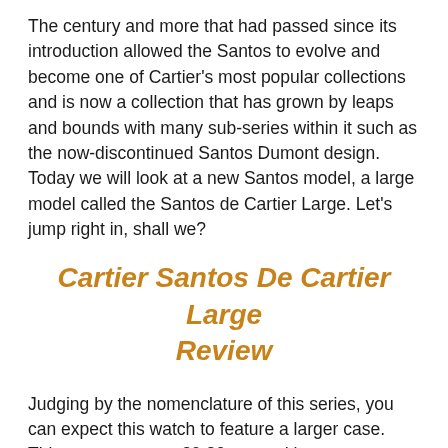The century and more that had passed since its introduction allowed the Santos to evolve and become one of Cartier's most popular collections and is now a collection that has grown by leaps and bounds with many sub-series within it such as the now-discontinued Santos Dumont design. Today we will look at a new Santos model, a large model called the Santos de Cartier Large. Let's jump right in, shall we?
Cartier Santos De Cartier Large Review
Judging by the nomenclature of this series, you can expect this watch to feature a larger case. This one measures 39.80mm and has a case thickness of 9.38mm and for a square watch, it has some great wrist presence. This size is about 5mm larger than